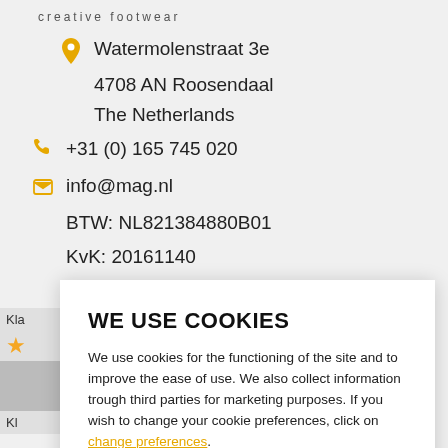creative footwear
Watermolenstraat 3e
4708 AN Roosendaal
The Netherlands
+31 (0) 165 745 020
info@mag.nl
BTW: NL821384880B01
KvK: 20161140
WE USE COOKIES
We use cookies for the functioning of the site and to improve the ease of use. We also collect information trough third parties for marketing purposes. If you wish to change your cookie preferences, click on change preferences.